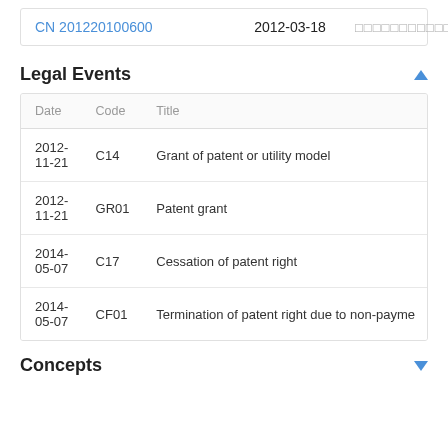|  |  |  |
| --- | --- | --- |
| CN 201220100600 | 2012-03-18 | □□□□□□□□□□□□□□ |
Legal Events
| Date | Code | Title |
| --- | --- | --- |
| 2012-11-21 | C14 | Grant of patent or utility model |
| 2012-11-21 | GR01 | Patent grant |
| 2014-05-07 | C17 | Cessation of patent right |
| 2014-05-07 | CF01 | Termination of patent right due to non-payme |
Concepts